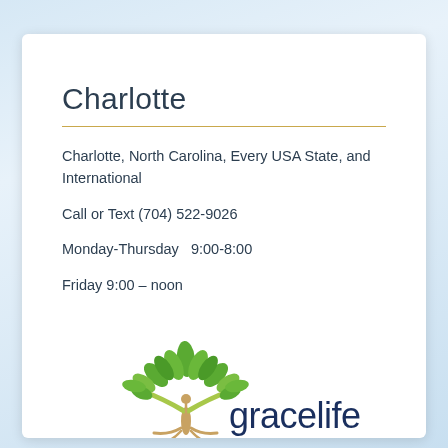Charlotte
Charlotte, North Carolina, Every USA State, and International
Call or Text (704) 522-9026
Monday-Thursday  9:00-8:00
Friday 9:00 – noon
[Figure (logo): GraceLife logo with green tree illustration and 'gracelife' text in dark blue]